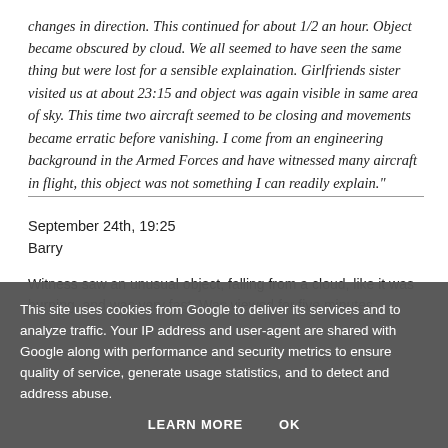changes in direction. This continued for about 1/2 an hour. Object became obscured by cloud. We all seemed to have seen the same thing but were lost for a sensible explaination. Girlfriends sister visited us at about 23:15 and object was again visible in same area of sky. This time two aircraft seemed to be closing and movements became erratic before vanishing. I come from an engineering background in the Armed Forces and have witnessed many aircraft in flight, this object was not something I can readily explain."
September 24th, 19:25
Barry
Witness saw an unusual object, falling from a cloud, like it was burning, and was very fast. Was viewed for five minutes.
This site uses cookies from Google to deliver its services and to analyze traffic. Your IP address and user-agent are shared with Google along with performance and security metrics to ensure quality of service, generate usage statistics, and to detect and address abuse.